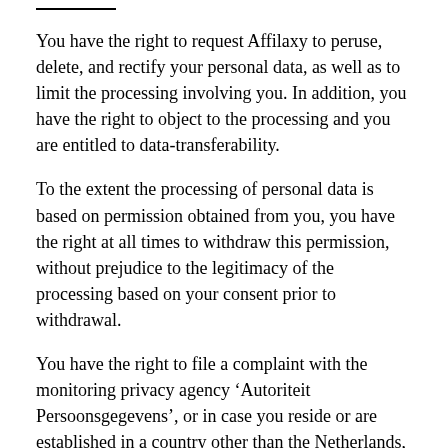You have the right to request Affilaxy to peruse, delete, and rectify your personal data, as well as to limit the processing involving you. In addition, you have the right to object to the processing and you are entitled to data-transferability.
To the extent the processing of personal data is based on permission obtained from you, you have the right at all times to withdraw this permission, without prejudice to the legitimacy of the processing based on your consent prior to withdrawal.
You have the right to file a complaint with the monitoring privacy agency 'Autoriteit Persoonsgegevens', or in case you reside or are established in a country other than the Netherlands, at the monitoring agency over